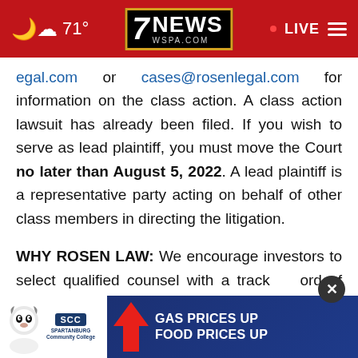7NEWS WSPA.COM | 71° | LIVE
egal.com or cases@rosenlegal.com for information on the class action. A class action lawsuit has already been filed. If you wish to serve as lead plaintiff, you must move the Court no later than August 5, 2022. A lead plaintiff is a representative party acting on behalf of other class members in directing the litigation.
WHY ROSEN LAW: We encourage investors to select qualified counsel with a track record of success suing notices do not have comparable experience
[Figure (advertisement): SCC Spartanburg Community College advertisement banner: GAS PRICES UP FOOD PRICES UP]